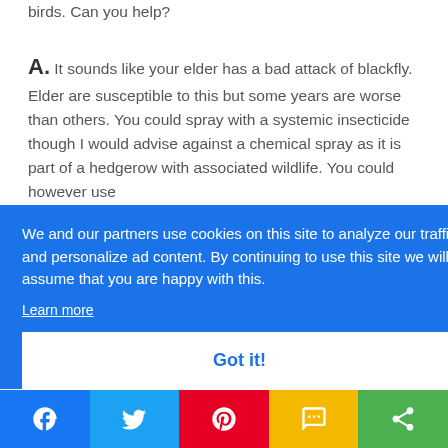birds. Can you help?
A. It sounds like your elder has a bad attack of blackfly. Elder are susceptible to this but some years are worse than others. You could spray with a systemic insecticide though I would advise against a chemical spray as it is part of a hedgerow with associated wildlife. You could however [text continues behind banner] e [text] e) [text] elf. I'd [text] or [text] (or it
We and our partners use cookies on this site to analyze our traffic and personalize ad content. By continuing to use this site we will assume that you are happy with this.
Learn more
Got it!